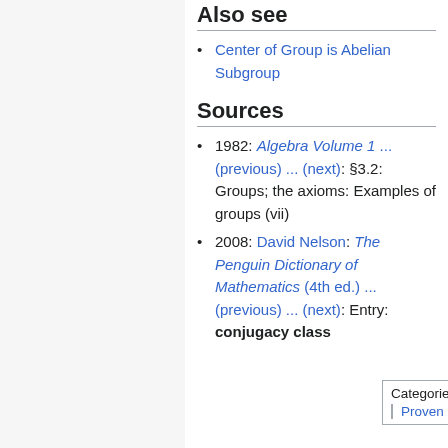Also see
Center of Group is Abelian Subgroup
Sources
1982: P.M. Cohn: Algebra Volume 1 (2nd ed.) ... (previous) ... (next): §3.2: Groups; the axioms: Examples of groups (vii)
2008: David Nelson: The Penguin Dictionary of Mathematics (4th ed.) ... (previous) ... (next): Entry: conjugacy class
| Categories |
| --- |
| Mergeto |
| Proven Results |